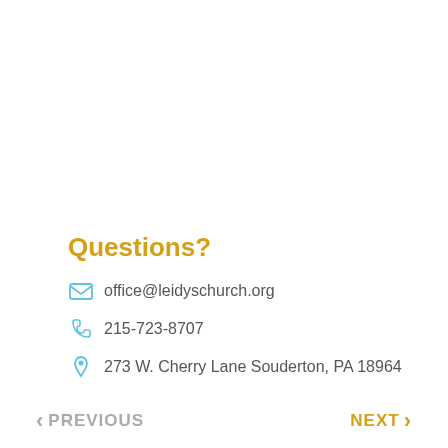Questions?
office@leidyschurch.org
215-723-8707
273 W. Cherry Lane Souderton, PA 18964
PREVIOUS   NEXT